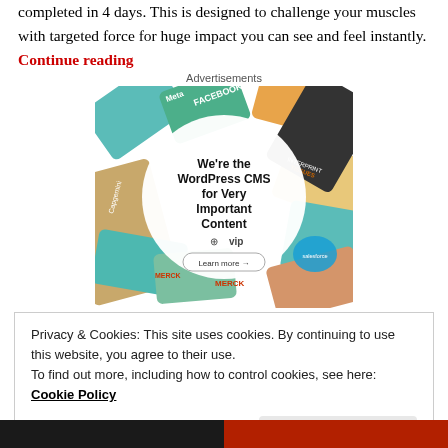completed in 4 days. This is designed to challenge your muscles with targeted force for huge impact you can see and feel instantly. Continue reading
Advertisements
[Figure (illustration): WordPress VIP advertisement: colorful cards with brand logos (Meta, Facebook, Capgemini, Merck, Salesforce) arranged around a central white circle reading 'We’re the WordPress CMS for Very Important Content' with a WP VIP logo and 'Learn more' button.]
Privacy & Cookies: This site uses cookies. By continuing to use this website, you agree to their use.
To find out more, including how to control cookies, see here: Cookie Policy
Close and accept